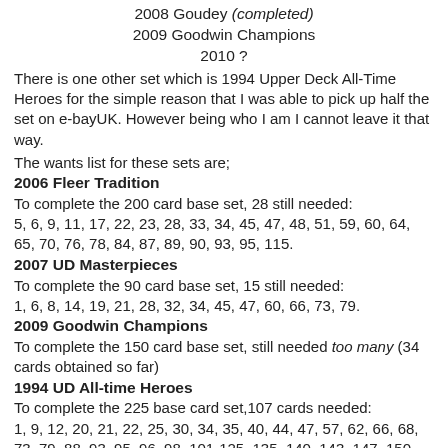2008 Goudey (completed)
2009 Goodwin Champions
2010 ?
There is one other set which is 1994 Upper Deck All-Time Heroes for the simple reason that I was able to pick up half the set on e-bayUK. However being who I am I cannot leave it that way.
The wants list for these sets are;
2006 Fleer Tradition
To complete the 200 card base set, 28 still needed:
5, 6, 9, 11, 17, 22, 23, 28, 33, 34, 45, 47, 48, 51, 59, 60, 64, 65, 70, 76, 78, 84, 87, 89, 90, 93, 95, 115.
2007 UD Masterpieces
To complete the 90 card base set, 15 still needed:
1, 6, 8, 14, 19, 21, 28, 32, 34, 45, 47, 60, 66, 73, 79.
2009 Goodwin Champions
To complete the 150 card base set, still needed too many (34 cards obtained so far)
1994 UD All-time Heroes
To complete the 225 base card set,107 cards needed:
1, 9, 12, 20, 21, 22, 25, 30, 34, 35, 40, 44, 47, 57, 62, 66, 68, 73, 79, 88, 93, 95, 96, 98, 101-125, 135, 140, 143, 147, 150-